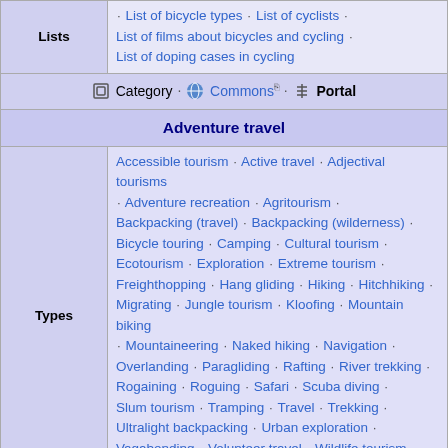| Lists | Links |
| --- | --- |
| Lists | · List of bicycle types · List of cyclists · List of films about bicycles and cycling · List of doping cases in cycling |
Category · Commons · Portal
Adventure travel
| Types | Links |
| --- | --- |
| Types | Accessible tourism · Active travel · Adjectival tourisms · Adventure recreation · Agritourism · Backpacking (travel) · Backpacking (wilderness) · Bicycle touring · Camping · Cultural tourism · Ecotourism · Exploration · Extreme tourism · Freighthopping · Hang gliding · Hiking · Hitchhiking · Migrating · Jungle tourism · Kloofing · Mountain biking · Mountaineering · Naked hiking · Navigation · Overlanding · Paragliding · Rafting · River trekking · Rogaining · Roguing · Safari · Scuba diving · Slum tourism · Tramping · Travel · Trekking · Ultralight backpacking · Urban exploration · Vagabonding · Volunteer travel · Wildlife tourism · Zip-lining |
Backpack · Campsite · Discovery · Exploration · Geocaching · Geohashing · Google Maps · Gypsy · Hiking equipment · Hobo · Hospitality service ·